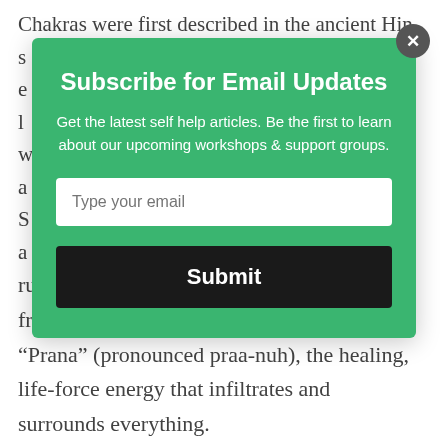Chakras were first described in the ancient Hin... run along the spine and spiral out from the front and back of each person. Chakras hold “Prana” (pronounced praa-nuh), the healing, life-force energy that infiltrates and surrounds everything. There are seven chakras and the first, or root
Subscribe for Email Updates
Get the latest self help articles. Be the first to learn about our upcoming workshops & support groups.
Type your email
Submit